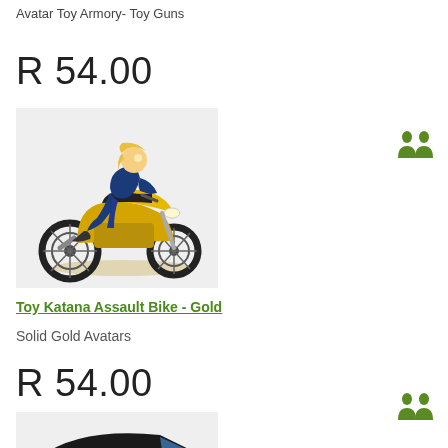Avatar Toy Armory- Toy Guns
R 54.00
[Figure (illustration): Avatar character riding a gold toy motorcycle (Toy Katana Assault Bike - Gold)]
Toy Katana Assault Bike - Gold
Solid Gold Avatars
R 54.00
[Figure (illustration): Black van toy with artwork on the side panel]
[Figure (illustration): Green person/people icon badge (top right, first item)]
[Figure (illustration): Green person/people icon badge (top right, second item)]